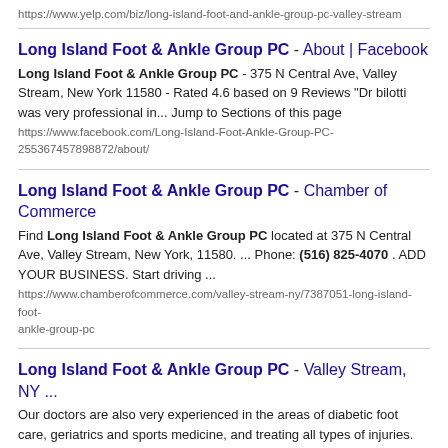https://www.yelp.com/biz/long-island-foot-and-ankle-group-pc-valley-stream
Long Island Foot & Ankle Group PC - About | Facebook
Long Island Foot & Ankle Group PC - 375 N Central Ave, Valley Stream, New York 11580 - Rated 4.6 based on 9 Reviews "Dr bilotti was very professional in... Jump to Sections of this page
https://www.facebook.com/Long-Island-Foot-Ankle-Group-PC-255367457898872/about/
Long Island Foot & Ankle Group PC - Chamber of Commerce
Find Long Island Foot & Ankle Group PC located at 375 N Central Ave, Valley Stream, New York, 11580. ... Phone: (516) 825-4070 . ADD YOUR BUSINESS. Start driving ...
https://www.chamberofcommerce.com/valley-stream-ny/7387051-long-island-foot-ankle-group-pc
Long Island Foot & Ankle Group PC - Valley Stream, NY ...
Our doctors are also very experienced in the areas of diabetic foot care, geriatrics and sports medicine, and treating all types of injuries. We strive to provide the best treatment plan to suit each individual patient. At Long Island Foot & Ankle Group, PC we value your time...